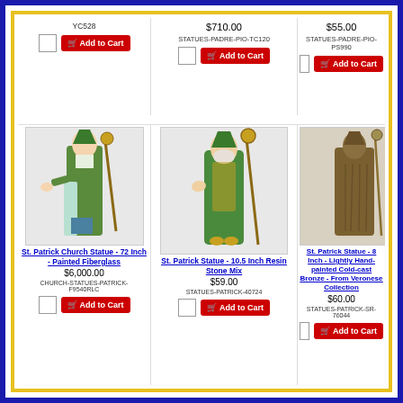YC528
$710.00
$55.00
STATUES-PADRE-PIO-TC120
STATUES-PADRE-PIO-PS990
[Figure (photo): St. Patrick Church Statue - 72 Inch - Painted Fiberglass]
St. Patrick Church Statue - 72 Inch - Painted Fiberglass
$6,000.00
CHURCH-STATUES-PATRICK-F9540RLC
[Figure (photo): St. Patrick Statue - 10.5 Inch Resin Stone Mix]
St. Patrick Statue - 10.5 Inch Resin Stone Mix
$59.00
STATUES-PATRICK-40724
[Figure (photo): St. Patrick Statue - 8 Inch - Lightly Hand-painted Cold-cast Bronze - From Veronese Collection]
St. Patrick Statue - 8 Inch - Lightly Hand-painted Cold-cast Bronze - From Veronese Collection
$60.00
STATUES-PATRICK-SR-76044
[Figure (photo): Saint statue partial view 1]
[Figure (photo): Saint statue partial view 2]
[Figure (photo): Saint statue partial view 3]